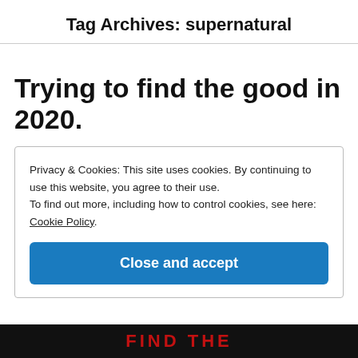Tag Archives: supernatural
Trying to find the good in 2020.
Privacy & Cookies: This site uses cookies. By continuing to use this website, you agree to their use.
To find out more, including how to control cookies, see here: Cookie Policy
Close and accept
[Figure (photo): Partial image at bottom of page showing red text 'FIND THE' on dark background]